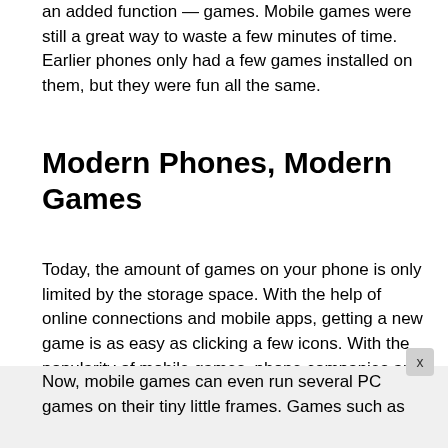an added function — games. Mobile games were still a great way to waste a few minutes of time. Earlier phones only had a few games installed on them, but they were fun all the same.
Modern Phones, Modern Games
Today, the amount of games on your phone is only limited by the storage space. With the help of online connections and mobile apps, getting a new game is as easy as clicking a few icons. With the popularity of mobile games, phone companies are even advertising specific gaming phones with tons of hardware potential.
Now, mobile games can even run several PC games on their tiny little frames. Games such as